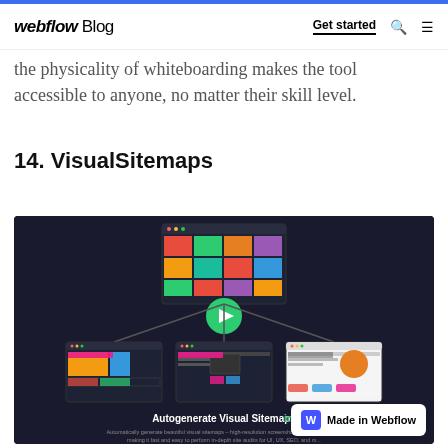webflow Blog | Get started
the physicality of whiteboarding makes the tool accessible to anyone, no matter their skill level.
14. VisualSitemaps
[Figure (screenshot): VisualSitemaps product screenshot on dark background showing a visual sitemap diagram with screenshot thumbnails of web pages connected hierarchically, with text 'Autogenerate Visual Sitemaps in Seconds.' and a play button overlay. A 'Made in Webflow' badge appears in the bottom right.]